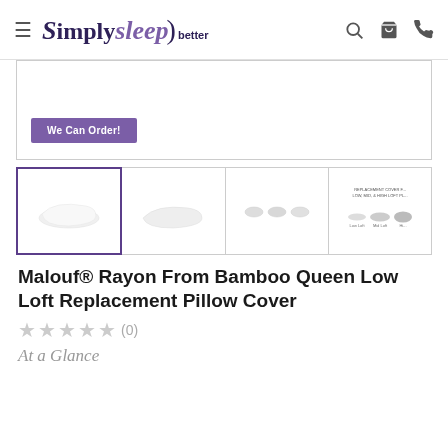Simply sleep better
[Figure (screenshot): Purple 'We Can Order!' button inside a bordered box]
[Figure (photo): Four product thumbnail images: white contour pillow from different angles, plus a size comparison chart showing Low Loft, Mid Loft, and High Loft replacement covers]
Malouf® Rayon From Bamboo Queen Low Loft Replacement Pillow Cover
★★★★★ (0)
At a Glance